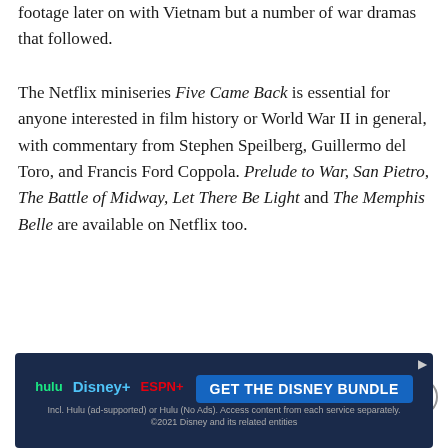footage later on with Vietnam but a number of war dramas that followed.
The Netflix miniseries Five Came Back is essential for anyone interested in film history or World War II in general, with commentary from Stephen Speilberg, Guillermo del Toro, and Francis Ford Coppola. Prelude to War, San Pietro, The Battle of Midway, Let There Be Light and The Memphis Belle are available on Netflix too.
Related Topics: Documentary, Frank Capra, History, Old Age, Movies
[Figure (infographic): Advertisement banner for Disney Bundle (Hulu + Disney+ + ESPN+) with blue background and GET THE DISNEY BUNDLE call to action button]